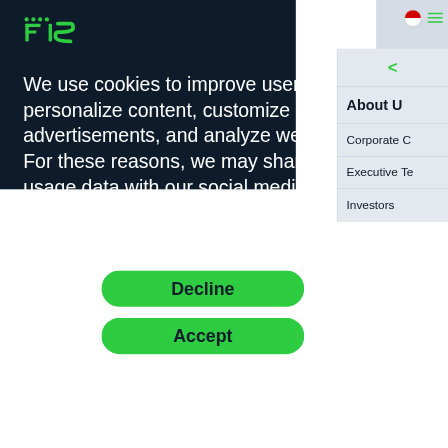[Figure (logo): FIS logo in green on dark navy background, top left]
We use cookies to improve user experience, personalize content, customize advertisements, and analyze website traffic. For these reasons, we may share your site usage data with our social media, advertising, and analytics partners. By clicking “Accept,” you agree to our website’s cookie use as described in our Cookie Policy. You can change your cookie settings at any time “Preferences.”
Decline
Accept
About U
Corporate C
Executive Te
Investors